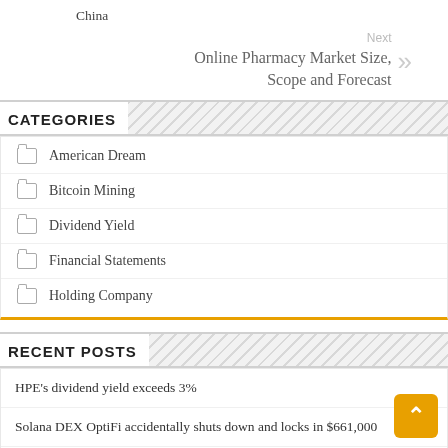China
Next
Online Pharmacy Market Size, Scope and Forecast
CATEGORIES
American Dream
Bitcoin Mining
Dividend Yield
Financial Statements
Holding Company
RECENT POSTS
HPE's dividend yield exceeds 3%
Solana DEX OptiFi accidentally shuts down and locks in $661,000
A woman becomes an American citizen at 89 in a grand ceremony at Dodger Stadium.